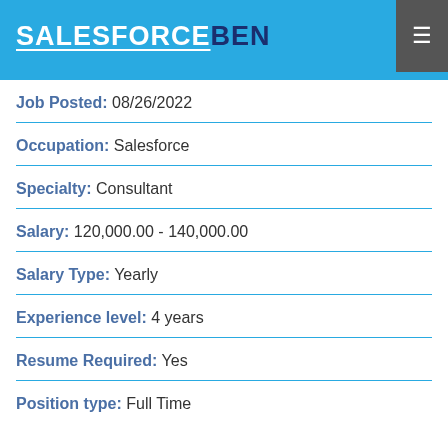SALESFORCEBEN
Job Posted: 08/26/2022
Occupation: Salesforce
Specialty: Consultant
Salary: 120,000.00 - 140,000.00
Salary Type: Yearly
Experience level: 4 years
Resume Required: Yes
Position type: Full Time